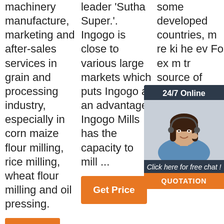machinery manufacture, marketing and after-sales services in grain and processing industry, especially in corn maize flour milling, rice milling, wheat flour milling and oil pressing.
leader 'Sutha Super.'. Ingogo is close to various large markets which puts Ingogo at an advantage. Ingogo Mills has the capacity to mill ...
[Figure (infographic): 24/7 Online chat widget with photo of woman wearing headset, 'Click here for free chat!' text, and orange QUOTATION button]
some developed countries, m re ki he ev Fo ex m tr source of hominy in Native American dishes, and
[Figure (logo): TOP logo with orange dots]
[Figure (other): Orange Get Price button]
[Figure (other): Orange button at bottom left (partial, cut off)]